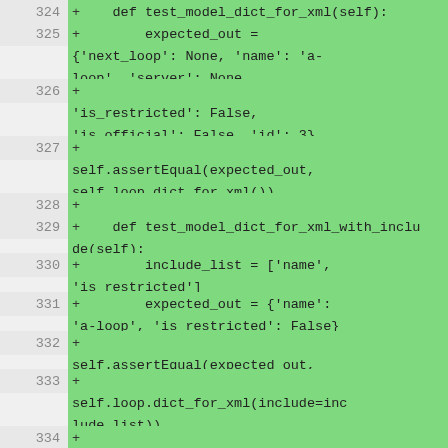[Figure (screenshot): Code diff screenshot showing Python test methods with line numbers 324-334. Green background indicates added lines. Lines show test_model_dict_for_xml and test_model_dict_for_xml_with_include methods with assertEqual assertions.]